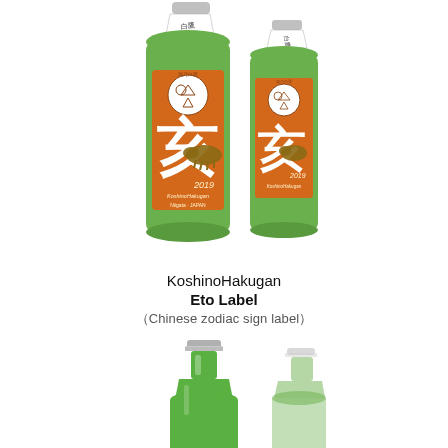[Figure (photo): Two green glass sake bottles with orange labels featuring Japanese kanji characters, a boar illustration, '2019' text, and traditional Japanese decorative crests. The bottles are shown side by side against a white background.]
KoshinoHakugan Eto Label (Chinese zodiac sign label)
[Figure (photo): Two green glass sake bottles shown from the neck/shoulder area downward, without labels visible, against a white background. One bottle is in sharp focus (left) and one is slightly blurred (right).]